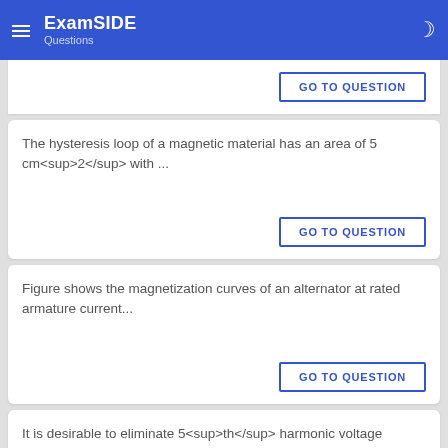ExamSIDE Questions
The hysteresis loop of a magnetic material has an area of 5 cm<sup>2</sup> with ...
GO TO QUESTION
Figure shows the magnetization curves of an alternator at rated armature current...
GO TO QUESTION
It is desirable to eliminate 5<sup>th</sup> harmonic voltage